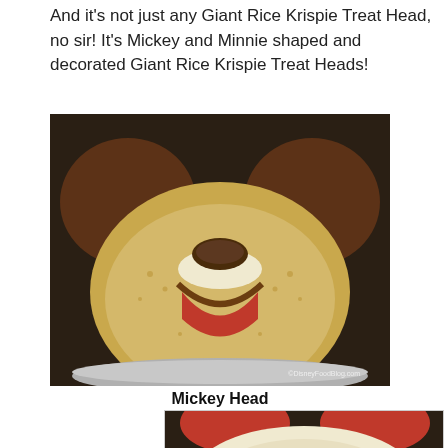And it's not just any Giant Rice Krispie Treat Head, no sir! It's Mickey and Minnie shaped and decorated Giant Rice Krispie Treat Heads!
[Figure (photo): A large Mickey Mouse shaped Rice Krispie Treat head on a silver platter, showing Mickey's round face with brown chocolate ears, a smile with a pink tongue and chocolate nose detail. Photo watermarked ©DisneyFoodBlog.com]
Mickey Head
[Figure (photo): Bottom portion of a Minnie Mouse shaped Giant Rice Krispie Treat Head, partially visible, showing red color at the top (bow) and white/cream body, with a close button (×) overlay at bottom right corner.]